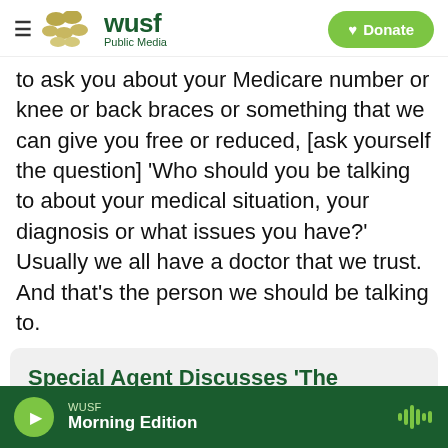WUSF Public Media | Donate
to ask you about your Medicare number or knee or back braces or something that we can give you free or reduced, [ask yourself the question] 'Who should you be talking to about your medical situation, your diagnosis or what issues you have?' Usually we all have a doctor that we trust. And that's the person we should be talking to.
Special Agent Discusses 'The Largest Medicare Fraud Scheme in U.S. History'
LISTEN • 10:14
WUSF Morning Edition